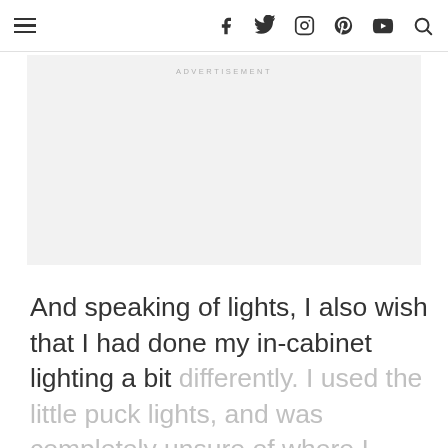≡  f  🐦  Instagram  Pinterest  YouTube  🔍
[Figure (other): Advertisement placeholder block with light gray background and 'ADVERTISEMENT' label at top center]
And speaking of lights, I also wish that I had done my in-cabinet lighting a bit differently.  I used the little puck lights, and was completely unsure of where I